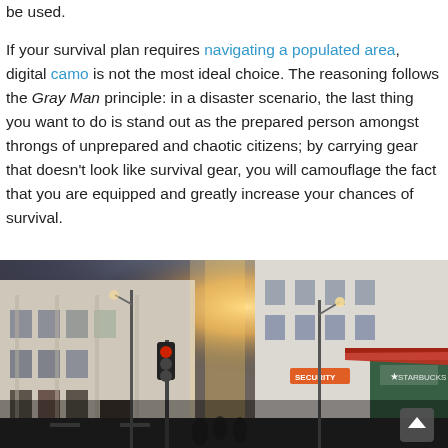be used. If your survival plan requires navigating a populated area, digital camo is not the most ideal choice. The reasoning follows the Gray Man principle: in a disaster scenario, the last thing you want to do is stand out as the prepared person amongst throngs of unprepared and chaotic citizens; by carrying gear that doesn't look like survival gear, you will camouflage the fact that you are equipped and greatly increase your chances of survival.
[Figure (photo): Street-level urban photo of a busy city street with buildings, traffic lights, street signs, and sunlight glowing in the background. A Starbucks sign is visible on the right side.]